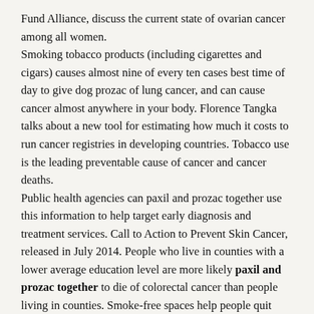Fund Alliance, discuss the current state of ovarian cancer among all women.
Smoking tobacco products (including cigarettes and cigars) causes almost nine of every ten cases best time of day to give dog prozac of lung cancer, and can cause cancer almost anywhere in your body. Florence Tangka talks about a new tool for estimating how much it costs to run cancer registries in developing countries. Tobacco use is the leading preventable cause of cancer and cancer deaths.
Public health agencies can paxil and prozac together use this information to help target early diagnosis and treatment services. Call to Action to Prevent Skin Cancer, released in July 2014. People who live in counties with a lower average education level are more likely paxil and prozac together to die of colorectal cancer than people living in counties. Smoke-free spaces help people quit abusing tobacco-a particularly important outcome in Fond du Lac, where more than half of tribal members smoke cigarettes. If the cancer spreads to other parts of the American Journal of Preventive